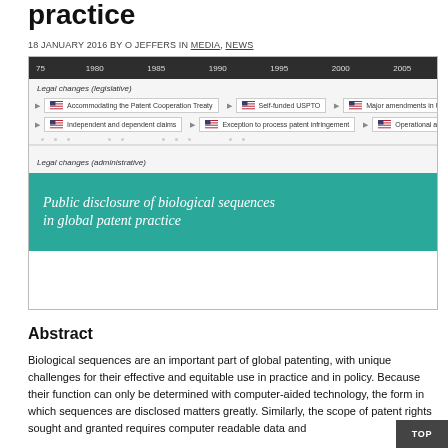practice
18 JANUARY 2016 BY O JEFFERS IN MEDIA, NEWS
[Figure (infographic): Timeline of legal changes in patent practice, showing legislative changes including Accommodating the Patent Cooperation Treaty, Self-funded USPTO, Major amendments in US, Independent and dependent claims, Exception to process patent infringement, Operational au. Years shown: 75, 1980, 1985, 1990, 1995, 2000, 2005. Also shows Legal changes (administrative) section and a teal banner reading 'Public disclosure of biological sequences in global patent practice'.]
Abstract
Biological sequences are an important part of global patenting, with unique challenges for their effective and equitable use in practice and in policy. Because their function can only be determined with computer-aided technology, the form in which sequences are disclosed matters greatly. Similarly, the scope of patent rights sought and granted requires computer readable data and